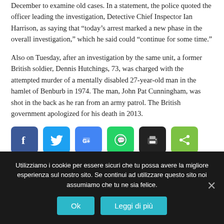December to examine old cases. In a statement, the police quoted the officer leading the investigation, Detective Chief Inspector Ian Harrison, as saying that “today’s arrest marked a new phase in the overall investigation,” which he said could “continue for some time.”
Also on Tuesday, after an investigation by the same unit, a former British soldier, Dennis Hutchings, 73, was charged with the attempted murder of a mentally disabled 27-year-old man in the hamlet of Benburb in 1974. The man, John Pat Cunningham, was shot in the back as he ran from an army patrol. The British government apologized for his death in 2013.
[Figure (other): Social media share buttons: Facebook, Twitter, Google+, WhatsApp, Print, Share]
Utilizziamo i cookie per essere sicuri che tu possa avere la migliore esperienza sul nostro sito. Se continui ad utilizzare questo sito noi assumiamo che tu ne sia felice.